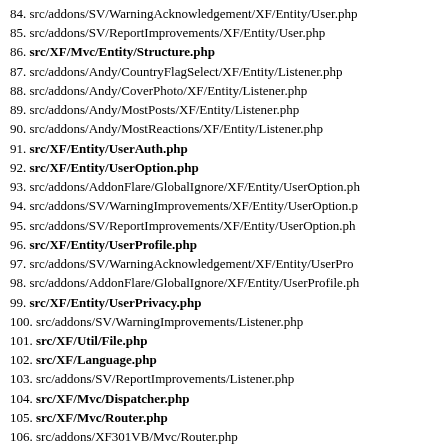84. src/addons/SV/WarningAcknowledgement/XF/Entity/User.php
85. src/addons/SV/ReportImprovements/XF/Entity/User.php
86. src/XF/Mvc/Entity/Structure.php
87. src/addons/Andy/CountryFlagSelect/XF/Entity/Listener.php
88. src/addons/Andy/CoverPhoto/XF/Entity/Listener.php
89. src/addons/Andy/MostPosts/XF/Entity/Listener.php
90. src/addons/Andy/MostReactions/XF/Entity/Listener.php
91. src/XF/Entity/UserAuth.php
92. src/XF/Entity/UserOption.php
93. src/addons/AddonFlare/GlobalIgnore/XF/Entity/UserOption.ph
94. src/addons/SV/WarningImprovements/XF/Entity/UserOption.p
95. src/addons/SV/ReportImprovements/XF/Entity/UserOption.ph
96. src/XF/Entity/UserProfile.php
97. src/addons/SV/WarningAcknowledgement/XF/Entity/UserPro
98. src/addons/AddonFlare/GlobalIgnore/XF/Entity/UserProfile.ph
99. src/XF/Entity/UserPrivacy.php
100. src/addons/SV/WarningImprovements/Listener.php
101. src/XF/Util/File.php
102. src/XF/Language.php
103. src/addons/SV/ReportImprovements/Listener.php
104. src/XF/Mvc/Dispatcher.php
105. src/XF/Mvc/Router.php
106. src/addons/XF301VB/Mvc/Router.php
107. src/XF/Mvc/RouteMatch.php
108. src/XF/Util/Arr.php